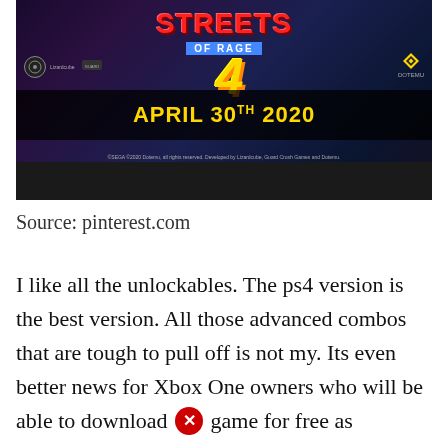[Figure (screenshot): Streets of Rage 4 promotional banner showing game title with characters, release date April 30TH 2020, logos for Lizardcube and Dotemu]
Source: pinterest.com
I like all the unlockables. The ps4 version is the best version. All those advanced combos that are tough to pull off is not my. Its even better news for Xbox One owners who will be able to download [X] game for free as